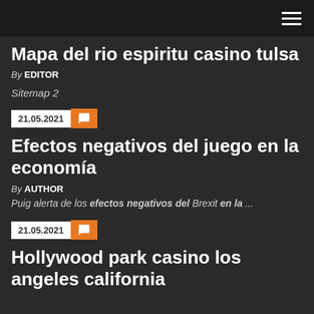Mapa del rio espiritu casino tulsa
By EDITOR
Sitemap 2
21.05.2021
Efectos negativos del juego en la economía
By AUTHOR
Puig alerta de los efectos negativos del Brexit en la ...
21.05.2021
Hollywood park casino los angeles california